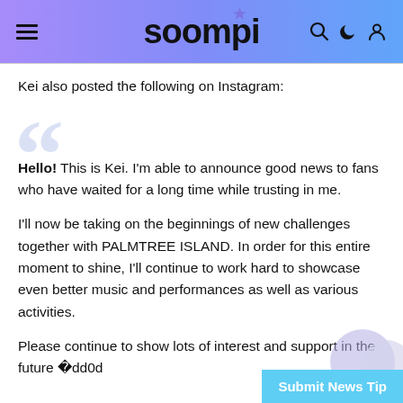soompi
Kei also posted the following on Instagram:
Hello! This is Kei. I'm able to announce good news to fans who have waited for a long time while trusting in me.

I'll now be taking on the beginnings of new challenges together with PALMTREE ISLAND. In order for this entire moment to shine, I'll continue to work hard to showcase even better music and performances as well as various activities.

Please continue to show lots of interest and support in the future �dd0d